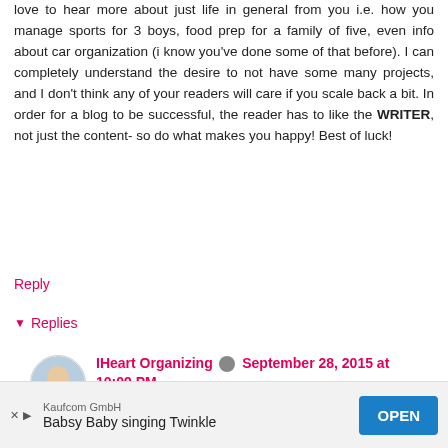love to hear more about just life in general from you i.e. how you manage sports for 3 boys, food prep for a family of five, even info about car organization (i know you've done some of that before). I can completely understand the desire to not have some many projects, and I don't think any of your readers will care if you scale back a bit. In order for a blog to be successful, the reader has to like the WRITER, not just the content- so do what makes you happy! Best of luck!
Reply
Replies
IHeart Organizing September 28, 2015 at 10:09 PM
Thank you so much Laura! I agree, it really is important to maintain that author relationship and not just focus on the content. And I love the post suggestions you added, so thank you again. ♥